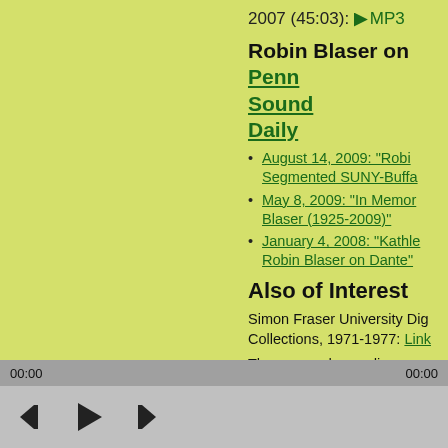2007 (45:03): ▶ MP3
Robin Blaser on Penn Sound Daily
August 14, 2009: "Robin... Segmented SUNY-Buffa..."
May 8, 2009: "In Memor... Blaser (1925-2009)"
January 4, 2008: "Kathle... Robin Blaser on Dante"
Also of Interest
Simon Fraser University Dig... Collections, 1971-1977: Link
These sound recordings are available for noncommercial use only. All rights to this rec... belong to the author. © 2017